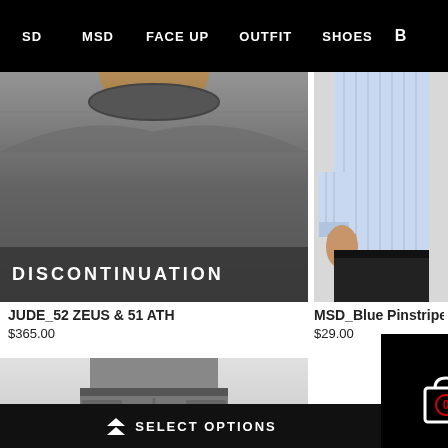SD   MSD   FACE UP   OUTFIT   SHOES
[Figure (photo): Close-up of a doll wearing a dark grey sweater, neck visible, with DISCONTINUATION text overlay at the bottom]
[Figure (photo): Doll wearing a blue pinstripe shirt and black pants, hand visible]
JUDE_52 ZEUS & 51 ATH
$365.00
MSD_Blue Pinstripe S
$29.00
[Figure (screenshot): Cart popup overlay with shopping bag icon showing 0, and up/down navigation arrows]
[Figure (photo): Doll wearing grey cargo pants, plaid shirt cuffs visible, holding pants pockets]
SELECT OPTIONS